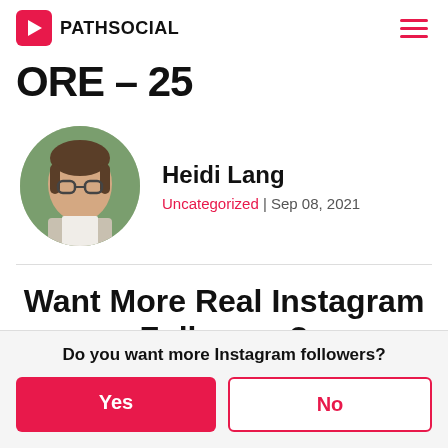PATHSOCIAL
ORE – 25
[Figure (photo): Circular profile photo of a young woman with short brown hair and glasses, wearing a light plaid jacket, against a green leafy background.]
Heidi Lang
Uncategorized | Sep 08, 2021
Want More Real Instagram Followers?
Do you want more Instagram followers?
Yes
No